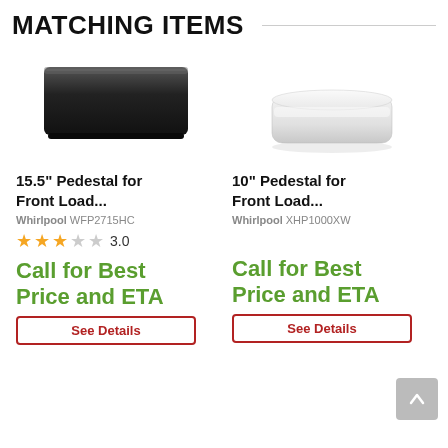MATCHING ITEMS
[Figure (photo): Black rectangular pedestal appliance product image]
15.5" Pedestal for Front Load...
Whirlpool WFP2715HC
3.0 stars rating
Call for Best Price and ETA
See Details
[Figure (photo): White round/cylindrical pedestal appliance product image]
10" Pedestal for Front Load...
Whirlpool XHP1000XW
Call for Best Price and ETA
See Details